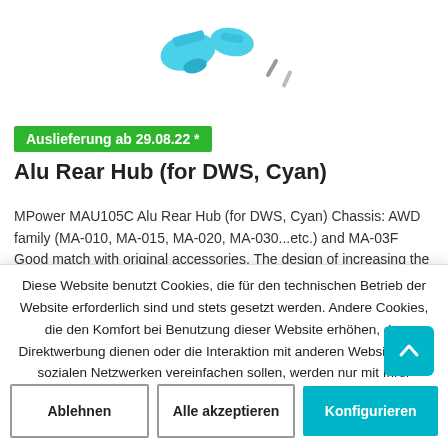[Figure (photo): Product photo showing cyan aluminum rear hub parts and screws on white background]
Auslieferung ab 29.08.22 *
Alu Rear Hub (for DWS, Cyan)
MPower MAU105C Alu Rear Hub (for DWS, Cyan) Chassis: AWD family (MA-010, MA-015, MA-020, MA-030...etc.) and MA-03F Good match with original accessories. The design of increasing the radian can reduce the interference to the
Diese Website benutzt Cookies, die für den technischen Betrieb der Website erforderlich sind und stets gesetzt werden. Andere Cookies, die den Komfort bei Benutzung dieser Website erhöhen, der Direktwerbung dienen oder die Interaktion mit anderen Websites und sozialen Netzwerken vereinfachen sollen, werden nur mit Ihrer Zustimmung gesetzt.
Mehr Informationen
Ablehnen
Alle akzeptieren
Konfigurieren